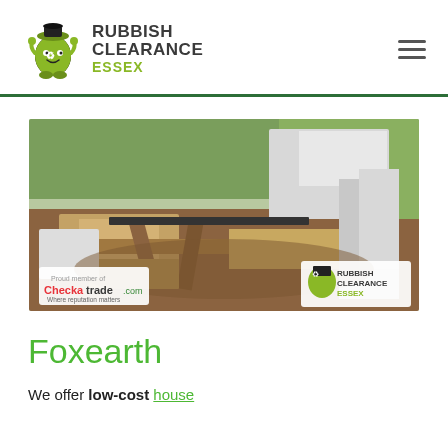[Figure (logo): Rubbish Clearance Essex logo with cartoon green rubbish bin character and company name text]
[Figure (photo): Hero banner photo showing a pile of rubbish and waste materials including wood panels, boards, and debris outdoors. Checkatrade.com badge visible bottom left, Rubbish Clearance Essex logo badge visible bottom right.]
Foxearth
We offer low-cost house